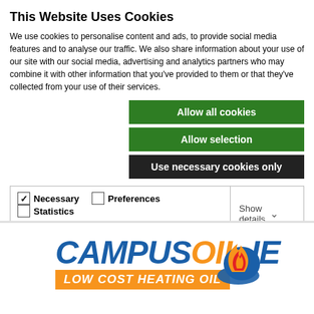This Website Uses Cookies
We use cookies to personalise content and ads, to provide social media features and to analyse our traffic. We also share information about your use of our site with our social media, advertising and analytics partners who may combine it with other information that you've provided to them or that they've collected from your use of their services.
Allow all cookies
Allow selection
Use necessary cookies only
| Necessary | Preferences | Statistics | Show details |
| --- | --- | --- | --- |
| ☑ Necessary | ☐ Preferences | ☐ Statistics | Show details ∨ |
| ☐ Marketing |  |  |  |
[Figure (logo): CampusOil.ie logo with orange and blue text reading CAMPUSOIL.IE and orange banner reading LOW COST HEATING OIL, with a flame/drop icon on the right]